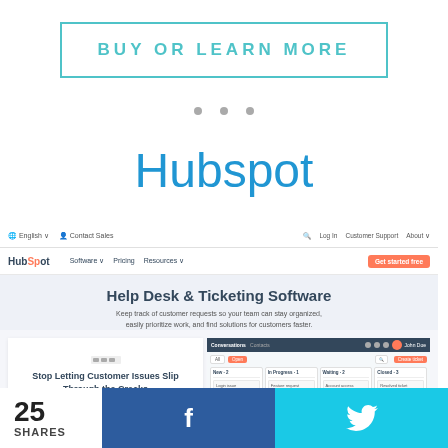BUY OR LEARN MORE
Hubspot
[Figure (screenshot): HubSpot website screenshot showing Help Desk & Ticketing Software page with navigation bar, hero text, and dashboard preview]
25 SHARES
Facebook share button
Twitter share button